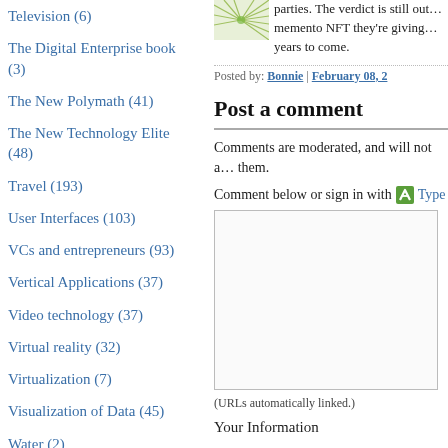Television (6)
The Digital Enterprise book (3)
The New Polymath (41)
The New Technology Elite (48)
Travel (193)
User Interfaces (103)
VCs and entrepreneurs (93)
Vertical Applications (37)
Video technology (37)
Virtual reality (32)
Virtualization (7)
Visualization of Data (45)
Water (2)
Wearable Computers (47)
Web 2.0 and Office 2.0 (64)
Web Services (8)
Web Services (7)
Web/Tech (9)
West Coast on the East
parties. The verdict is still out... memento NFT they're giving... years to come.
Posted by: Bonnie | February 08, 2...
Post a comment
Comments are moderated, and will not a... them.
Comment below or sign in with Typepad
(URLs automatically linked.)
Your Information